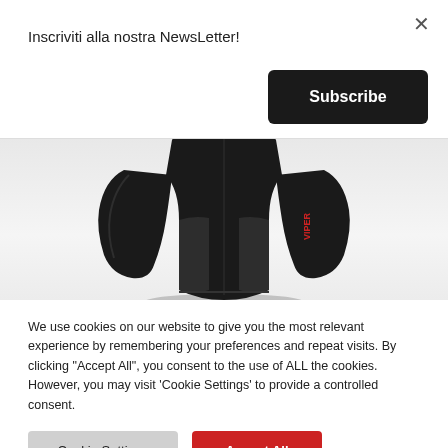Inscriviti alla nostra NewsLetter!
[Figure (screenshot): Black long-sleeve cycling jersey displayed on a light gray background]
We use cookies on our website to give you the most relevant experience by remembering your preferences and repeat visits. By clicking "Accept All", you consent to the use of ALL the cookies. However, you may visit 'Cookie Settings' to provide a controlled consent.